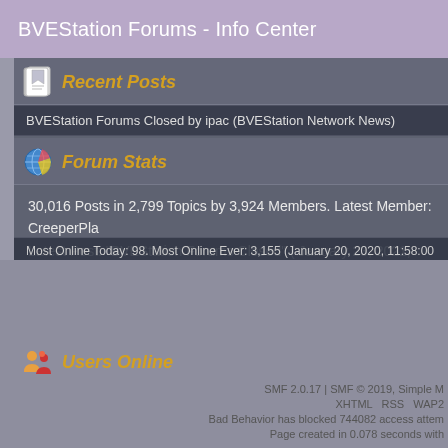BVEStation Forums - Info Center
Recent Posts
BVEStation Forums Closed by ipac (BVEStation Network News)
Forum Stats
30,016 Posts in 2,799 Topics by 3,924 Members. Latest Member: CreeperPla. Latest Post: "BVEStation Forums Closed" ( January 23, 2021, 09:43:55 pm ). View the most recent posts on the forum. [More Stats]
Users Online
95 Guests, 0 Users
Most Online Today: 98. Most Online Ever: 3,155 (January 20, 2020, 11:58:00 pm)
SMF 2.0.17 | SMF © 2019, Simple M
XHTML  RSS  WAP2
Bad Behavior has blocked 744082 access attem
Page created in 0.078 seconds with